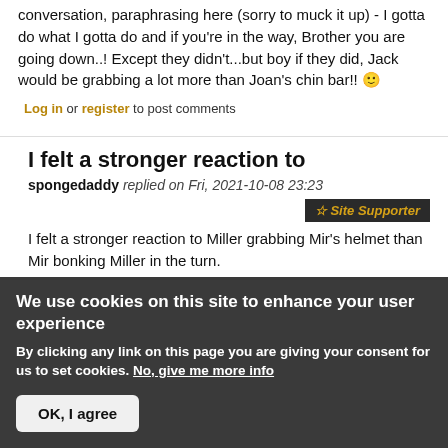conversation, paraphrasing here (sorry to muck it up) - I gotta do what I gotta do and if you're in the way, Brother you are going down..! Except they didn't...but boy if they did, Jack would be grabbing a lot more than Joan's chin bar!!  🙂
Log in or register to post comments
I felt a stronger reaction to
spongedaddy replied on Fri, 2021-10-08 23:23
☆ Site Supporter
I felt a stronger reaction to Miller grabbing Mir's helmet than Mir bonking Miller in the turn.
We use cookies on this site to enhance your user experience
By clicking any link on this page you are giving your consent for us to set cookies. No, give me more info
OK, I agree